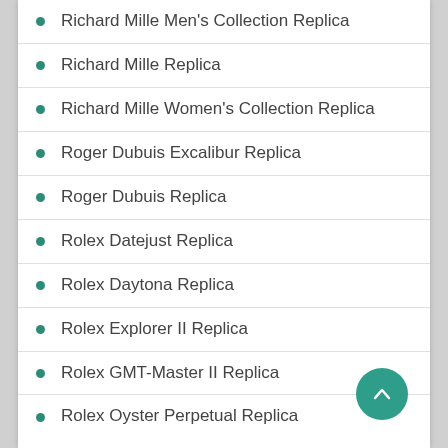Richard Mille Men's Collection Replica
Richard Mille Replica
Richard Mille Women's Collection Replica
Roger Dubuis Excalibur Replica
Roger Dubuis Replica
Rolex Datejust Replica
Rolex Daytona Replica
Rolex Explorer II Replica
Rolex GMT-Master II Replica
Rolex Oyster Perpetual Replica